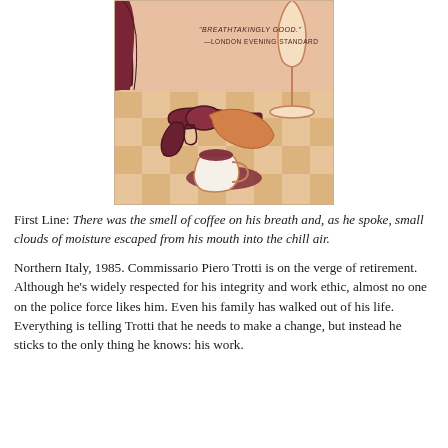[Figure (illustration): Book cover illustration showing a checkered orange/beige tablecloth with a revolver gun, a tipped-over coffee cup with spilled liquid, a wine glass, and a dark red vase in the background. Text on the cover reads: "BREATHTAKINGLY GOOD." —LONDON EVENING STANDARD]
First Line: There was the smell of coffee on his breath and, as he spoke, small clouds of moisture escaped from his mouth into the chill air.
Northern Italy, 1985. Commissario Piero Trotti is on the verge of retirement. Although he's widely respected for his integrity and work ethic, almost no one on the police force likes him. Even his family has walked out of his life. Everything is telling Trotti that he needs to make a change, but instead he sticks to the only thing he knows: his work.